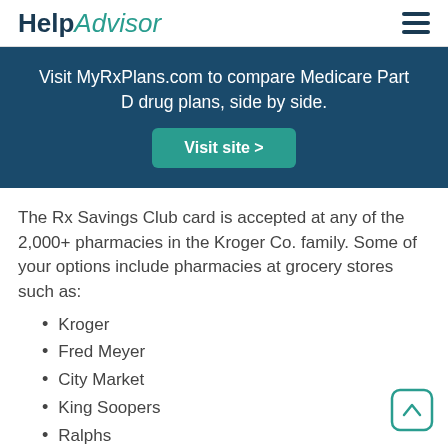HelpAdvisor
Visit MyRxPlans.com to compare Medicare Part D drug plans, side by side.
Visit site >
The Rx Savings Club card is accepted at any of the 2,000+ pharmacies in the Kroger Co. family. Some of your options include pharmacies at grocery stores such as:
Kroger
Fred Meyer
City Market
King Soopers
Ralphs
Smith's Food and Drug
Fry's